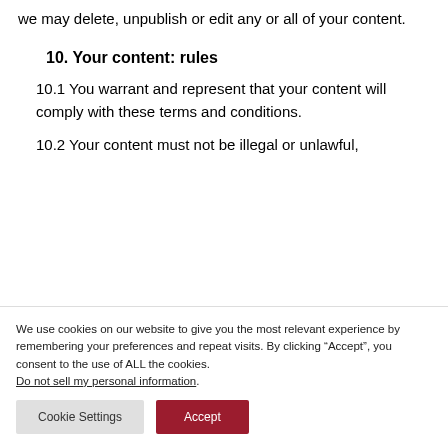we may delete, unpublish or edit any or all of your content.
10. Your content: rules
10.1 You warrant and represent that your content will comply with these terms and conditions.
10.2 Your content must not be illegal or unlawful,
We use cookies on our website to give you the most relevant experience by remembering your preferences and repeat visits. By clicking “Accept”, you consent to the use of ALL the cookies. Do not sell my personal information.
Cookie Settings
Accept